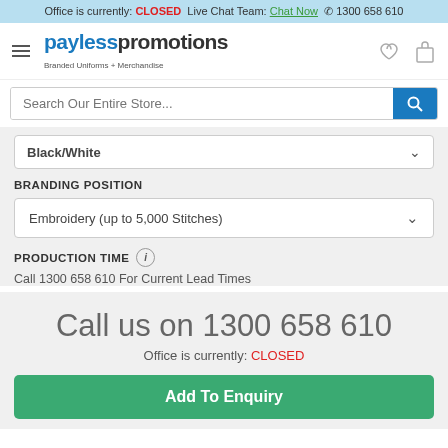Office is currently: CLOSED  Live Chat Team: Chat Now  📞 1300 658 610
[Figure (logo): Payless Promotions logo with text 'Branded Uniforms + Merchandise']
Search Our Entire Store...
Black/White
BRANDING POSITION
Embroidery (up to 5,000 Stitches)
PRODUCTION TIME
Call 1300 658 610 For Current Lead Times
Call us on 1300 658 610
Office is currently: CLOSED
Add To Enquiry